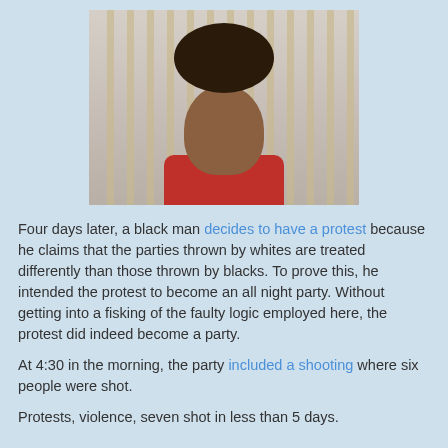[Figure (photo): Mugshot-style photo of a young man with curly hair against a striped wall background, wearing a red shirt]
Four days later, a black man decides to have a protest because he claims that the parties thrown by whites are treated differently than those thrown by blacks. To prove this, he intended the protest to become an all night party. Without getting into a fisking of the faulty logic employed here, the protest did indeed become a party.
At 4:30 in the morning, the party included a shooting where six people were shot.
Protests, violence, seven shot in less than 5 days.